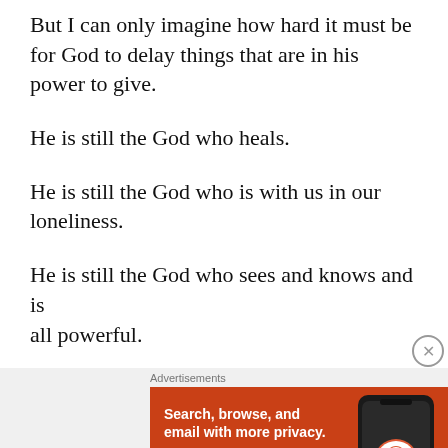But I can only imagine how hard it must be for God to delay things that are in his power to give.
He is still the God who heals.
He is still the God who is with us in our loneliness.
He is still the God who sees and knows and is all powerful.
[Figure (other): DuckDuckGo advertisement banner: orange background with text 'Search, browse, and email with more privacy. All in One Free App' and a phone image showing the DuckDuckGo app logo]